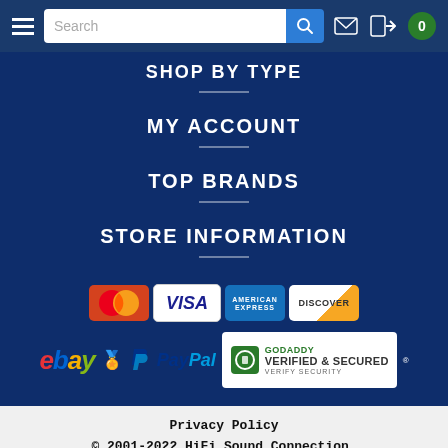Navigation bar with hamburger menu, search bar, mail icon, login icon, cart badge (0)
SHOP BY TYPE
MY ACCOUNT
TOP BRANDS
STORE INFORMATION
[Figure (logo): Payment method logos: MasterCard, VISA, American Express, Discover, eBay, PayPal, GoDaddy Verified & Secured]
Privacy Policy
© 2001-2022 HiFi Sound Connection.
All Rights Reserved.